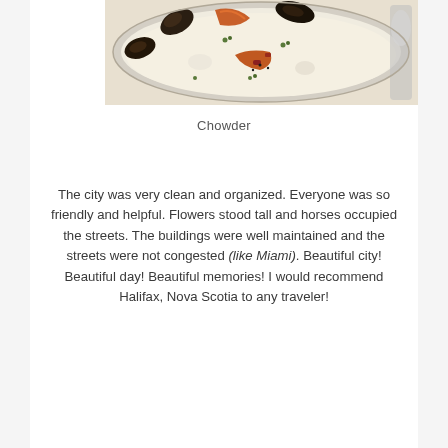[Figure (photo): A bowl of chowder soup with mussels, shrimp, bacon, and herbs in a creamy white broth, with a spoon visible on the right side.]
Chowder
The city was very clean and organized. Everyone was so friendly and helpful. Flowers stood tall and horses occupied the streets. The buildings were well maintained and the streets were not congested (like Miami). Beautiful city! Beautiful day! Beautiful memories! I would recommend Halifax, Nova Scotia to any traveler!